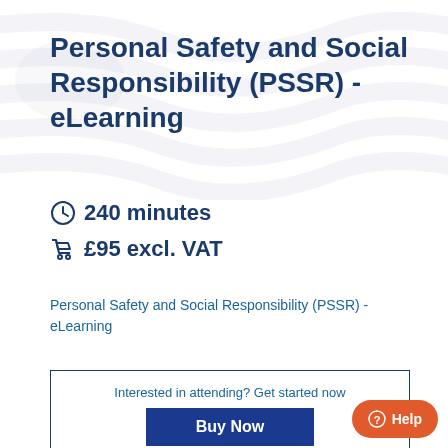Personal Safety and Social Responsibility (PSSR) - eLearning
240 minutes
£95 excl. VAT
Personal Safety and Social Responsibility (PSSR) - eLearning
Interested in attending? Get started now
Buy Now
Help